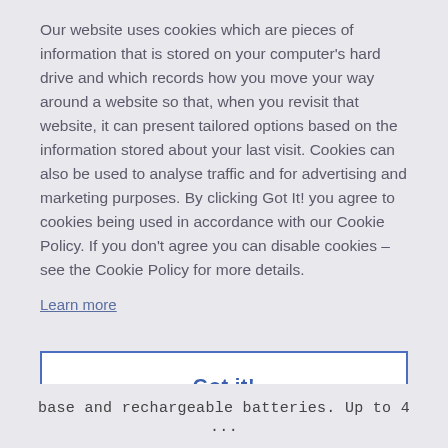Our website uses cookies which are pieces of information that is stored on your computer's hard drive and which records how you move your way around a website so that, when you revisit that website, it can present tailored options based on the information stored about your last visit. Cookies can also be used to analyse traffic and for advertising and marketing purposes. By clicking Got It! you agree to cookies being used in accordance with our Cookie Policy. If you don't agree you can disable cookies – see the Cookie Policy for more details.
Learn more
Got it!
base and rechargeable batteries. Up to 4 ...